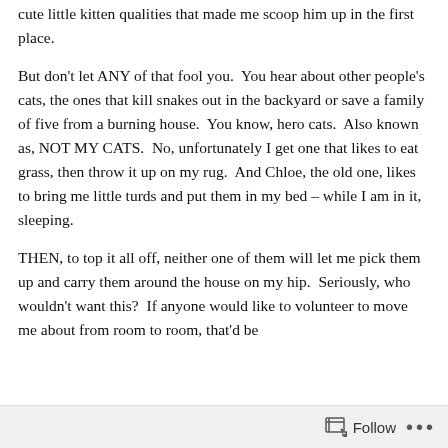cute little kitten qualities that made me scoop him up in the first place.
But don't let ANY of that fool you.  You hear about other people's cats, the ones that kill snakes out in the backyard or save a family of five from a burning house.  You know, hero cats.  Also known as, NOT MY CATS.  No, unfortunately I get one that likes to eat grass, then throw it up on my rug.  And Chloe, the old one, likes to bring me little turds and put them in my bed – while I am in it, sleeping.
THEN, to top it all off, neither one of them will let me pick them up and carry them around the house on my hip.  Seriously, who wouldn't want this?  If anyone would like to volunteer to move me about from room to room, that'd be
Follow ···